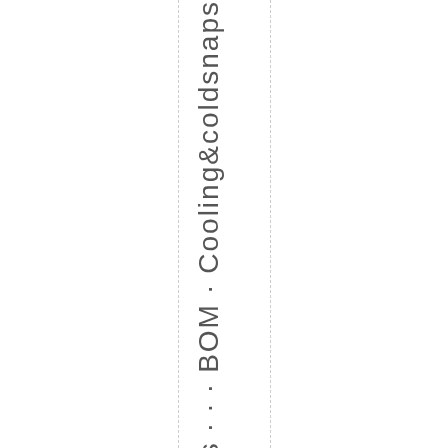Tags ... BOM · Cooling&coldsnaps